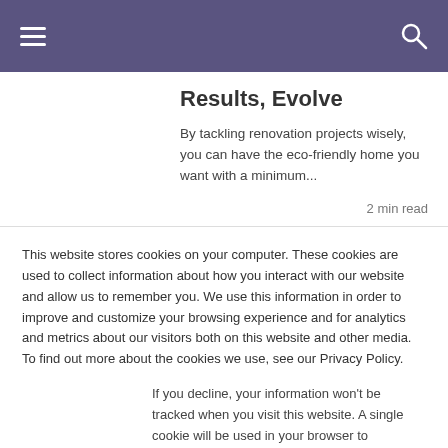Results, Evolve
By tackling renovation projects wisely, you can have the eco-friendly home you want with a minimum...
2 min read
This website stores cookies on your computer. These cookies are used to collect information about how you interact with our website and allow us to remember you. We use this information in order to improve and customize your browsing experience and for analytics and metrics about our visitors both on this website and other media. To find out more about the cookies we use, see our Privacy Policy.
If you decline, your information won't be tracked when you visit this website. A single cookie will be used in your browser to remember your preference not to be tracked.
Accept
Decline